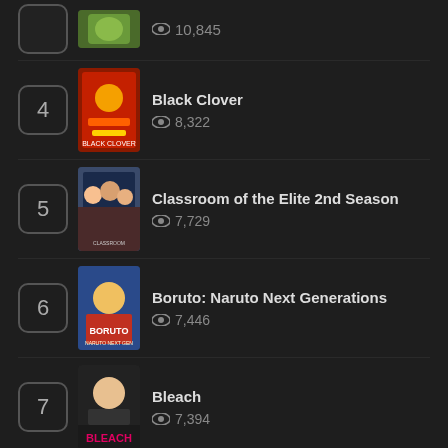10,845 views (partial item at top)
4 - Black Clover - 8,322 views
5 - Classroom of the Elite 2nd Season - 7,729 views
6 - Boruto: Naruto Next Generations - 7,446 views
7 - Bleach - 7,394 views
8 - Black Summoner - 7,266 views